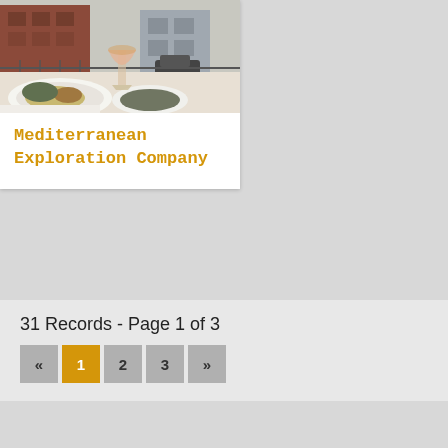[Figure (photo): Restaurant table with plates of food including pasta and salads, a wine glass with rosé wine, outdoor urban setting with brick buildings in background]
Mediterranean Exploration Company
31 Records - Page 1 of 3
« 1 2 3 »